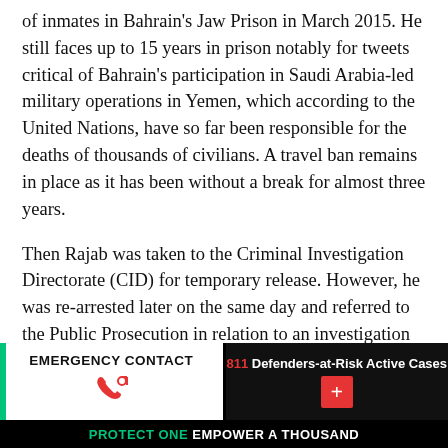of inmates in Bahrain's Jaw Prison in March 2015. He still faces up to 15 years in prison notably for tweets critical of Bahrain's participation in Saudi Arabia-led military operations in Yemen, which according to the United Nations, have so far been responsible for the deaths of thousands of civilians. A travel ban remains in place as it has been without a break for almost three years.
Then Rajab was taken to the Criminal Investigation Directorate (CID) for temporary release. However, he was re-arrested later on the same day and referred to the Public Prosecution in relation to an investigation into televised interviews dating from 2015 and January 2016, which commenced in mid-June 2016. He will be held for seven days on these charges. It seems that these interviews were
EMERGENCY CONTACT | 811 Defenders-at-Risk Active Cases | PROTECT ONE EMPOWER A THOUSAND